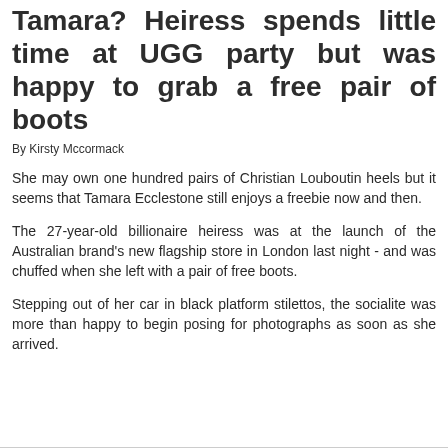Tamara? Heiress spends little time at UGG party but was happy to grab a free pair of boots
By Kirsty Mccormack
She may own one hundred pairs of Christian Louboutin heels but it seems that Tamara Ecclestone still enjoys a freebie now and then.
The 27-year-old billionaire heiress was at the launch of the Australian brand's new flagship store in London last night - and was chuffed when she left with a pair of free boots.
Stepping out of her car in black platform stilettos, the socialite was more than happy to begin posing for photographs as soon as she arrived.